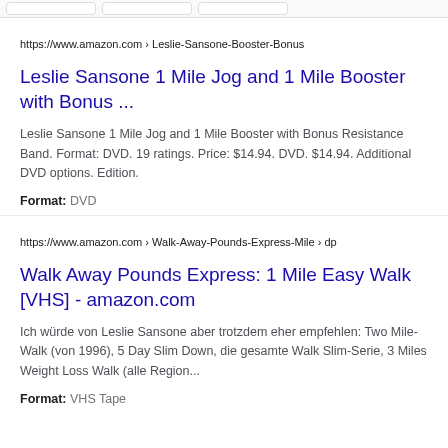https://www.amazon.com › Leslie-Sansone-Booster-Bonus
Leslie Sansone 1 Mile Jog and 1 Mile Booster with Bonus ...
Leslie Sansone 1 Mile Jog and 1 Mile Booster with Bonus Resistance Band. Format: DVD. 19 ratings. Price: $14.94. DVD. $14.94. Additional DVD options. Edition.
Format: DVD
https://www.amazon.com › Walk-Away-Pounds-Express-Mile › dp
Walk Away Pounds Express: 1 Mile Easy Walk [VHS] - amazon.com
Ich würde von Leslie Sansone aber trotzdem eher empfehlen: Two Mile-Walk (von 1996), 5 Day Slim Down, die gesamte Walk Slim-Serie, 3 Miles Weight Loss Walk (alle Region...
Format: VHS Tape